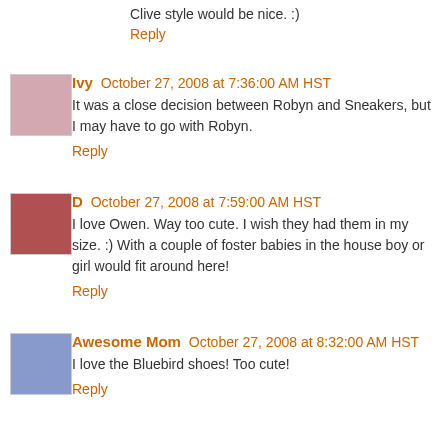Clive style would be nice. :)
Reply
Ivy  October 27, 2008 at 7:36:00 AM HST
It was a close decision between Robyn and Sneakers, but I may have to go with Robyn.
Reply
D  October 27, 2008 at 7:59:00 AM HST
I love Owen. Way too cute. I wish they had them in my size. :) With a couple of foster babies in the house boy or girl would fit around here!
Reply
Awesome Mom  October 27, 2008 at 8:32:00 AM HST
I love the Bluebird shoes! Too cute!
Reply